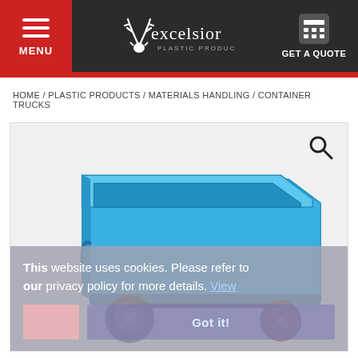MENU | Excelsior Plastic Products | GET A QUOTE
HOME / PLASTIC PRODUCTS / MATERIALS HANDLING / CONTAINER TRUCKS
[Figure (photo): Blue plastic container truck on wheels with a search icon overlay and a cookie consent banner reading: This website uses cookies. Please refer to our privacy policy for more details. View | Got it!]